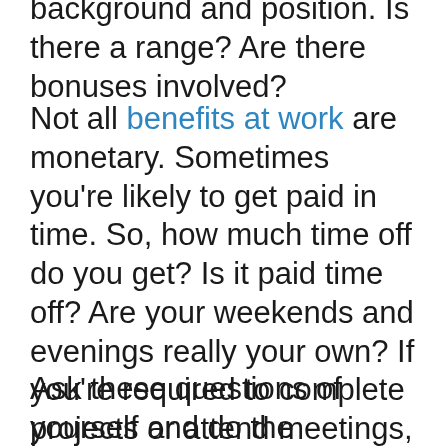background and position. Is there a range? Are there bonuses involved?
Not all benefits at work are monetary. Sometimes you’re likely to get paid in time. So, how much time off do you get? Is it paid time off? Are your weekends and evenings really your own? If you’re required to complete projects or attend meetings, do you have protected time to complete them and participate?
Ask these questions of yourself and do the research. Often a lack of transparency is because people are